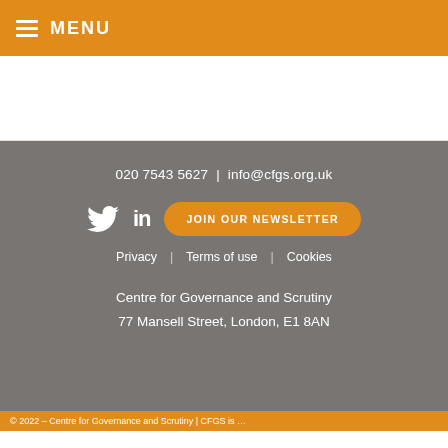MENU
020 7543 5627  |  info@cfgs.org.uk
[Figure (other): Twitter and LinkedIn social media icons alongside a JOIN OUR NEWSLETTER orange button]
Privacy  |  Terms of use  |  Cookies
Centre for Governance and Scrutiny
77 Mansell Street, London, E1 8AN
© 2022 – Centre for Governance and Scrutiny | CFGS is …